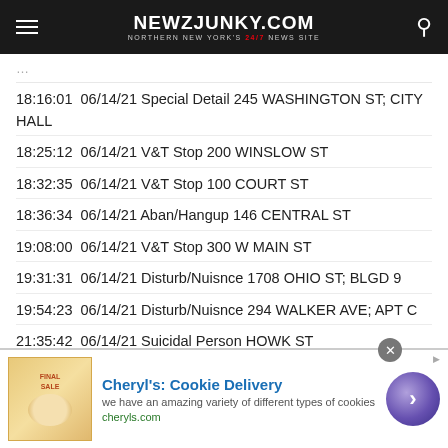NEWZJUNKY.COM — NORTHERN NEW YORK'S 24/7 NEWS SITE
18:16:01  06/14/21  Special Detail  245 WASHINGTON ST; CITY HALL
18:25:12  06/14/21  V&T Stop  200 WINSLOW ST
18:32:35  06/14/21  V&T Stop  100 COURT ST
18:36:34  06/14/21  Aban/Hangup  146 CENTRAL ST
19:08:00  06/14/21  V&T Stop  300 W MAIN ST
19:31:31  06/14/21  Disturb/Nuisnce  1708 OHIO ST; BLGD 9
19:54:23  06/14/21  Disturb/Nuisnce  294 WALKER AVE; APT C
21:35:42  06/14/21  Suicidal Person  HOWK ST
21:51:32  06/14/21  Harass/Stal/Thr  168 STERLING ST
21:51:42  06/14/21  Alarms  327 FRANKLIN ST; ASBURY METHODIST
[Figure (other): Advertisement banner for Cheryl's Cookie Delivery — cheryls.com]